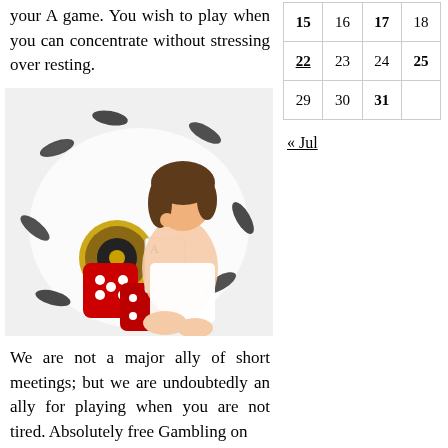your A game. You wish to play when you can concentrate without stressing over resting.
| 15 | 16 | 17 | 18 |
| --- | --- | --- | --- |
| 22 | 23 | 24 | 25 |
| 29 | 30 | 31 |  |
<< Jul
[Figure (photo): A young Asian woman sitting with casino chips, a roulette wheel, and red dice scattered around her.]
We are not a major ally of short meetings; but we are undoubtedly an ally for playing when you are not tired. Absolutely free Gambling on